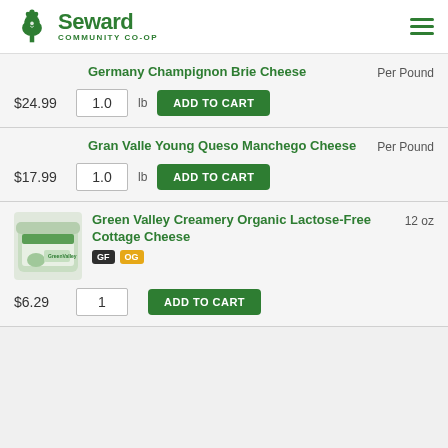Seward Community Co-op
Germany Champignon Brie Cheese — Per Pound — $24.99 — 1.0 lb — ADD TO CART
Gran Valle Young Queso Manchego Cheese — Per Pound — $17.99 — 1.0 lb — ADD TO CART
[Figure (photo): Green Valley Creamery product container]
Green Valley Creamery Organic Lactose-Free Cottage Cheese — 12 oz — GF — OG — $6.29 — 1 — ADD TO CART